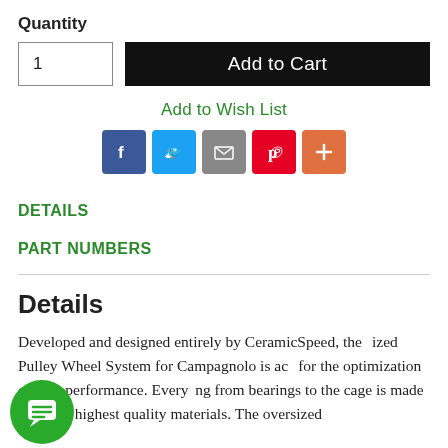Quantity
1
Add to Cart
Add to Wish List
[Figure (infographic): Social share icons: Facebook (blue), Twitter (light blue), Email (grey), Pinterest (red), Plus/Share (orange)]
DETAILS
PART NUMBERS
Details
Developed and designed entirely by CeramicSpeed, the ized Pulley Wheel System for Campagnolo is ac for the optimization of bike performance. Every ng from bearings to the cage is made from the highest quality materials. The oversized
[Figure (illustration): Green circular chat/message bubble button overlay in lower left]